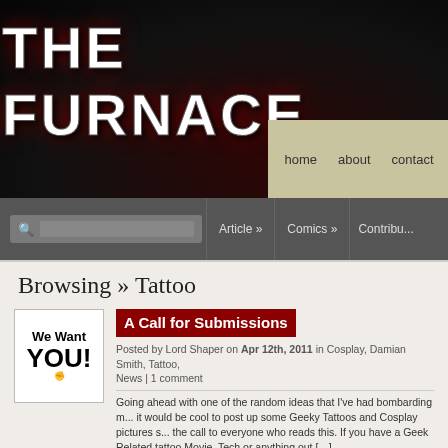THE FURNACE
home  about  contact
Article »  Comics »  Contribu...
Browsing » Tattoo
[Figure (illustration): We Want YOU! image with fist pointing at viewer]
A Call for Submissions
Posted by Lord Shaper on Apr 12th, 2011 in Cosplay, Damian Smith, Tattoo, News | 1 comment
Going ahead with one of the random ideas that I've had bombarding m... it would be cool to post up some Geeky Tattoos and Cosplay pictures s... the call to everyone who reads this. If you have a Geek Related tattoo Movie, Tech or anything out […]
Who would you party with?